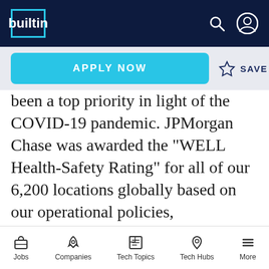builtin (navigation bar with search and profile icons)
APPLY NOW | SAVE
been a top priority in light of the COVID-19 pandemic. JPMorgan Chase was awarded the "WELL Health-Safety Rating" for all of our 6,200 locations globally based on our operational policies, maintenance protocols, stakeholder engagement and emergency plans to address a post-COVID-19 environment.

As a part of our commitment to health and safety, we have implemented various COVID-
Jobs | Companies | Tech Topics | Tech Hubs | More